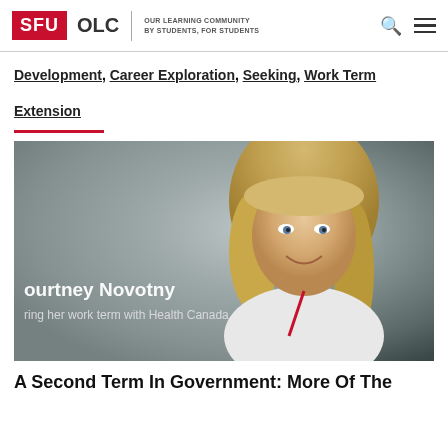SFU OLC | OUR LEARNING COMMUNITY BY STUDENTS, FOR STUDENTS
Development, Career Exploration, Seeking, Work Term Extension
[Figure (photo): Photo of Courtney Novotny during her work term with Health Canada. A young blonde woman smiling, with overlaid text showing her name and work term placement.]
A Second Term In Government: More Of The